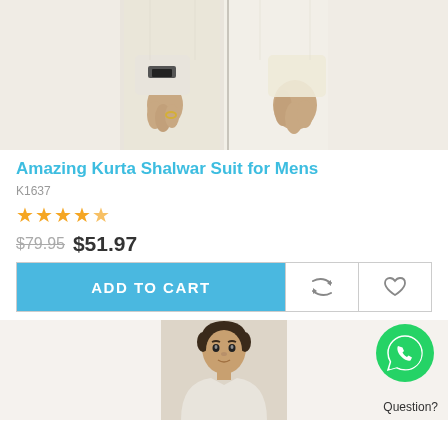[Figure (photo): Photo of a man wearing a white Kurta Shalwar suit, showing the midsection and hands area, with a watch visible on one wrist.]
Amazing Kurta Shalwar Suit for Mens
K1637
★★★★★ (4.5 stars rating)
$79.95  $51.97
ADD TO CART
[Figure (photo): Photo of a man wearing a Kurta Shalwar suit, showing the upper body/head.]
Question?